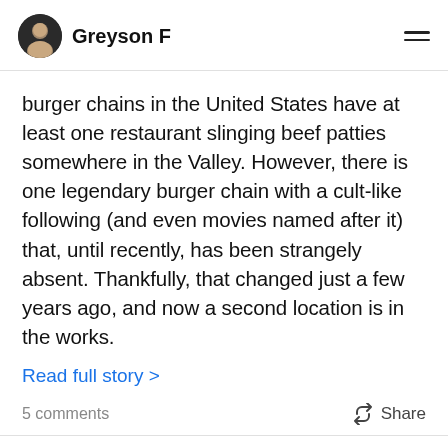Greyson F
burger chains in the United States have at least one restaurant slinging beef patties somewhere in the Valley. However, there is one legendary burger chain with a cult-like following (and even movies named after it) that, until recently, has been strangely absent. Thankfully, that changed just a few years ago, and now a second location is in the works.
Read full story >
5 comments
Share
Phoenix, AZ   21 days ago
Write a comment...